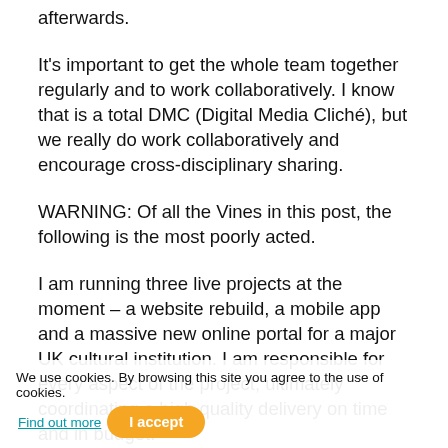afterwards.
It's important to get the whole team together regularly and to work collaboratively. I know that is a total DMC (Digital Media Cliché), but we really do work collaboratively and encourage cross-disciplinary sharing.
WARNING: Of all the Vines in this post, the following is the most poorly acted.
I am running three live projects at the moment – a website rebuild, a mobile app and a massive new online portal for a major UK cultural institution. I am responsible for every aspect of the project; ultimately coordinating a high quality delivery on time and in budget.
We have a pitch for some new business tomorrow so today is our last chance for a run-through and to think about questions we might be asked. The pitch team practice in front of colleagues who give us some really useful feedback. We make the necessary amends. We then up our presentation and focus our minds on getting under the skin of the client's brief.
We use cookies. By browsing this site you agree to the use of cookies. Find out more  I accept